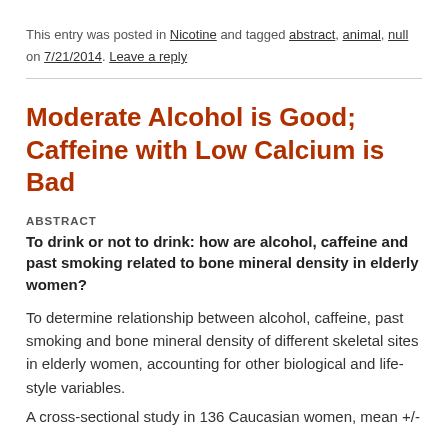This entry was posted in Nicotine and tagged abstract, animal, null on 7/21/2014. Leave a reply
Moderate Alcohol is Good; Caffeine with Low Calcium is Bad
ABSTRACT
To drink or not to drink: how are alcohol, caffeine and past smoking related to bone mineral density in elderly women?
To determine relationship between alcohol, caffeine, past smoking and bone mineral density of different skeletal sites in elderly women, accounting for other biological and life-style variables.
A cross-sectional study in 136 Caucasian women, mean +/-